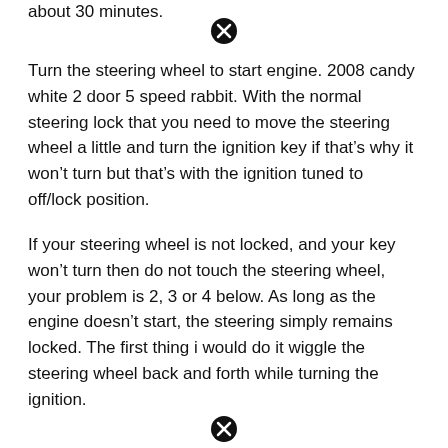about 30 minutes.
[Figure (other): Close/X button icon (circle with X)]
Turn the steering wheel to start engine. 2008 candy white 2 door 5 speed rabbit. With the normal steering lock that you need to move the steering wheel a little and turn the ignition key if that's why it won't turn but that's with the ignition tuned to off/lock position.
If your steering wheel is not locked, and your key won't turn then do not touch the steering wheel, your problem is 2, 3 or 4 below. As long as the engine doesn't start, the steering simply remains locked. The first thing i would do it wiggle the steering wheel back and forth while turning the ignition.
[Figure (other): Close/X button icon (circle with X)]